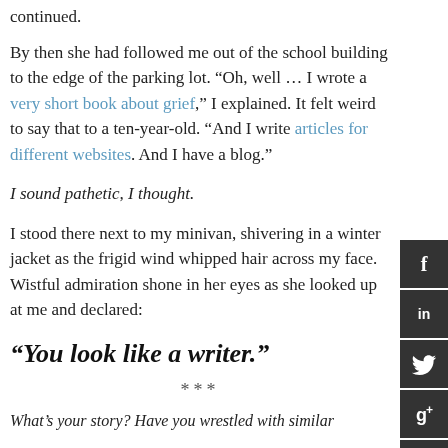continued.
By then she had followed me out of the school building to the edge of the parking lot. “Oh, well … I wrote a very short book about grief,” I explained. It felt weird to say that to a ten-year-old. “And I write articles for different websites. And I have a blog.”
I sound pathetic, I thought.
I stood there next to my minivan, shivering in a winter jacket as the frigid wind whipped hair across my face. Wistful admiration shone in her eyes as she looked up at me and declared:
“You look like a writer.”
***
What’s your story? Have you wrestled with similar